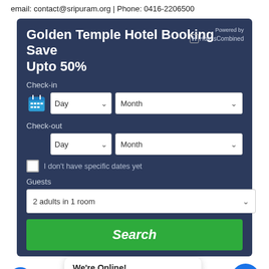email: contact@sripuram.org | Phone: 0416-2206500
Golden Temple Hotel Booking Save Upto 50%
Check-in
Day  Month
Check-out
Day  Month
I don't have specific dates yet
Guests
2 adults in 1 room
Search
We're Online!
How may I help you today?
How To Reach